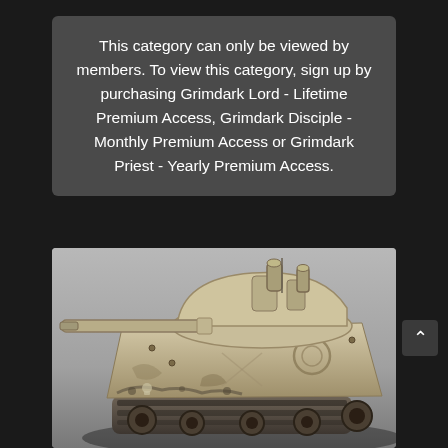This category can only be viewed by members. To view this category, sign up by purchasing Grimdark Lord - Lifetime Premium Access, Grimdark Disciple - Monthly Premium Access or Grimdark Priest - Yearly Premium Access.
[Figure (photo): A detailed grimdark-style miniature tank model, painted in dusty sandy tones with weathered and battle-worn effects, featuring skulls, rivets, a cannon barrel on the left, and various mechanical details. The model is photographed against a grey gradient background.]